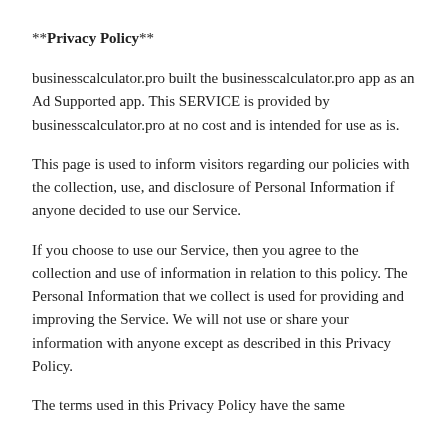**Privacy Policy**
businesscalculator.pro built the businesscalculator.pro app as an Ad Supported app. This SERVICE is provided by businesscalculator.pro at no cost and is intended for use as is.
This page is used to inform visitors regarding our policies with the collection, use, and disclosure of Personal Information if anyone decided to use our Service.
If you choose to use our Service, then you agree to the collection and use of information in relation to this policy. The Personal Information that we collect is used for providing and improving the Service. We will not use or share your information with anyone except as described in this Privacy Policy.
The terms used in this Privacy Policy have the same